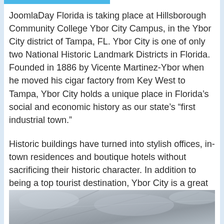JoomlaDay Florida is taking place at Hillsborough Community College Ybor City Campus, in the Ybor City district of Tampa, FL. Ybor City is one of only two National Historic Landmark Districts in Florida. Founded in 1886 by Vicente Martinez-Ybor when he moved his cigar factory from Key West to Tampa, Ybor City holds a unique place in Florida's social and economic history as our state's “first industrial town.”
Historic buildings have turned into stylish offices, in-town residences and boutique hotels without sacrificing their historic character. In addition to being a top tourist destination, Ybor City is a great place to meet, greet and do business.
[Figure (photo): Partial photo of a historic building or street scene, showing sky and structural elements, cropped at the bottom of the page.]